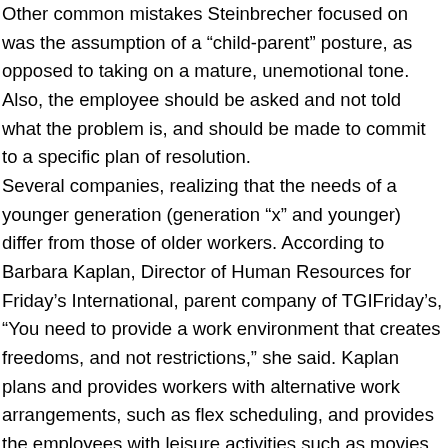Other common mistakes Steinbrecher focused on was the assumption of a “child-parent” posture, as opposed to taking on a mature, unemotional tone. Also, the employee should be asked and not told what the problem is, and should be made to commit to a specific plan of resolution. Several companies, realizing that the needs of a younger generation (generation “x” and younger) differ from those of older workers. According to Barbara Kaplan, Director of Human Resources for Friday’s International, parent company of TGIFriday’s, “You need to provide a work environment that creates freedoms, and not restrictions,” she said. Kaplan plans and provides workers with alternative work arrangements, such as flex scheduling, and provides the employees with leisure activities such as movies and sporting events. Other techniques include finding employees affordable vacations,